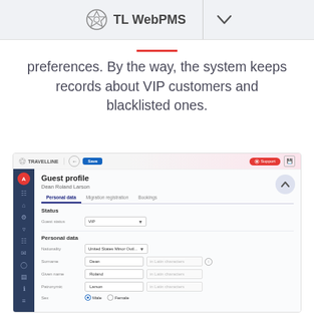TL WebPMS
preferences. By the way, the system keeps records about VIP customers and blacklisted ones.
[Figure (screenshot): TravelLine WebPMS Guest profile screen showing Dean Roland Larson's profile with Personal data tab active. Fields shown: Guest status (VIP), Nationality (United States Minor Outl...), Surname (Dean), Given name (Roland), Patronymic (Larson), Sex (Male selected).]